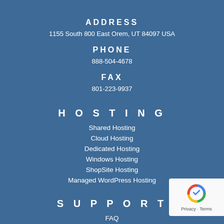ADDRESS
1155 South 800 East Orem, UT 84097 USA
PHONE
888-504-4678
FAX
801-223-9937
HOSTING
Shared Hosting
Cloud Hosting
Dedicated Hosting
Windows Hosting
ShopSite Hosting
Managed WordPress Hosting
SUPPORT
FAQ
Affiliate Program